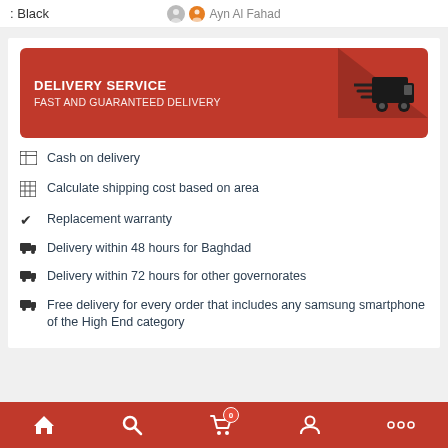: Black | Ayn Al Fahad
[Figure (infographic): Red delivery service banner with truck icon, text: DELIVERY SERVICE / FAST AND GUARANTEED DELIVERY]
Cash on delivery
Calculate shipping cost based on area
Replacement warranty
Delivery within 48 hours for Baghdad
Delivery within 72 hours for other governorates
Free delivery for every order that includes any samsung smartphone of the High End category
Home | Search | Cart (0) | Account | Menu